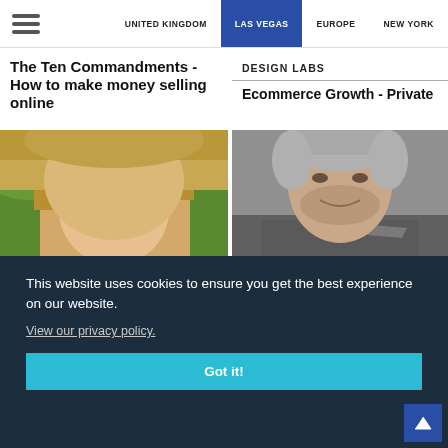UNITED KINGDOM | LAS VEGAS | EUROPE | NEW YORK
The Ten Commandments - How to make money selling online
DESIGN LABS
Ecommerce Growth - Private
[Figure (photo): Close-up photo of a blonde woman outdoors with green foliage background]
[Figure (photo): Close-up photo of a man with grey hair and beard wearing a grey Reebok athletic shirt]
This website uses cookies to ensure you get the best experience on our website.
View our privacy policy.
Got it!